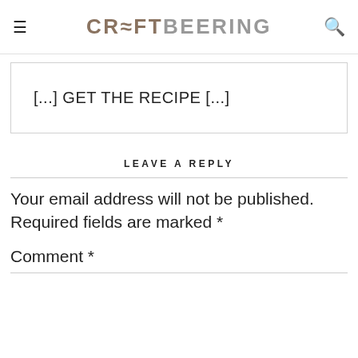CRAFTBEERING
[...] GET THE RECIPE [...]
LEAVE A REPLY
Your email address will not be published. Required fields are marked *
Comment *